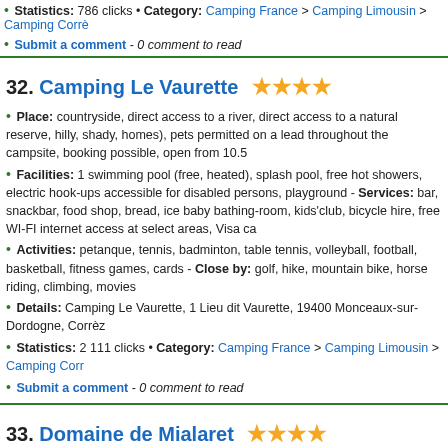Statistics: 786 clicks • Category: Camping France > Camping Limousin > Camping Corrèze
Submit a comment - 0 comment to read
32. Camping Le Vaurette ★★★★
Place: countryside, direct access to a river, direct access to a natural reserve, hilly, shady, homes), pets permitted on a lead throughout the campsite, booking possible, open from 10.5
Facilities: 1 swimming pool (free, heated), splash pool, free hot showers, electric hook-ups, accessible for disabled persons, playground - Services: bar, snackbar, food shop, bread, ice baby bathing-room, kids'club, bicycle hire, free WI-FI internet access at select areas, Visa ca
Activities: petanque, tennis, badminton, table tennis, volleyball, football, basketball, fitness games, cards - Close by: golf, hike, mountain bike, horse riding, climbing, movies
Details: Camping Le Vaurette, 1 Lieu dit Vaurette, 19400 Monceaux-sur-Dordogne, Corrèz
Statistics: 2 111 clicks • Category: Camping France > Camping Limousin > Camping Corrèze
Submit a comment - 0 comment to read
33. Domaine de Mialaret ★★★★
Place: countryside, 200 km from the sea, 5 km from a river, 4 km from a lake, direct access (tents, caravans, camper vans), 45 rentals (fully equipped tents, bungalows, chalets), hotel, from 20.4 to 1.11
Facilities: 1 swimming pool (free), free hot showers, individual barbecue, private car park, disabled persons, rentals accessible for disabled persons, entire campsite accessible for dis snackbar, take-away food, food shop, bread, ice supply, refrigerators for hire, washing-